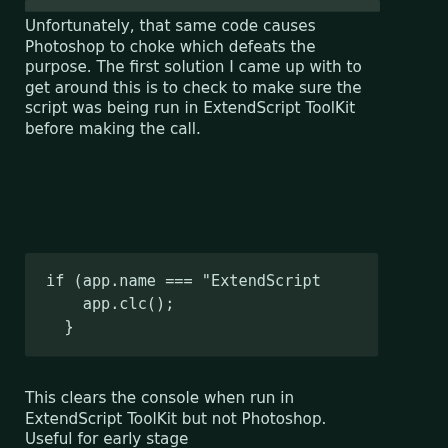[Figure (screenshot): Dark-themed code editor top bar area]
Unfortunately, that same code causes Photoshop to choke which defeats the purpose. The first solution I came up with to get around this is to check to make sure the script was being run in ExtendScript ToolKit before making the call.
if (app.name === "ExtendScript
    app.clc();
  }
This clears the console when run in ExtendScript ToolKit but not Photoshop. Useful for early stage